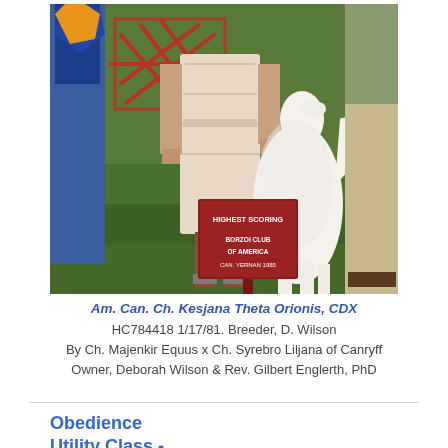[Figure (photo): Outdoor dog show photo showing people's legs and torsos standing on grass with a white Borzoi dog. A red award sign reads 'HIGHEST SCORING BORZOI CLUB OF AMERICA CAN. YERNAN 1985'. Blue and yellow ribbons are visible on the left.]
Am. Can. Ch. Kesjana Theta Orionis, CDX
HC784418 1/17/81. Breeder, D. Wilson
By Ch. Majenkir Equus x Ch. Syrebro Liljana of Canryff
Owner, Deborah Wilson & Rev. Gilbert Englerth, PhD
Obedience Utility Class -
1st (87)